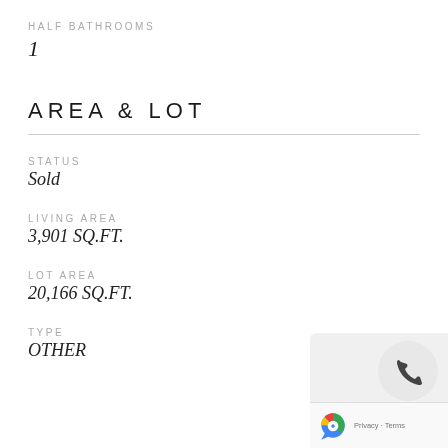HALF BATHROOMS
1
AREA & LOT
STATUS
Sold
LIVING AREA
3,901 SQ.FT.
LOT AREA
20,166 SQ.FT.
TYPE
OTHER